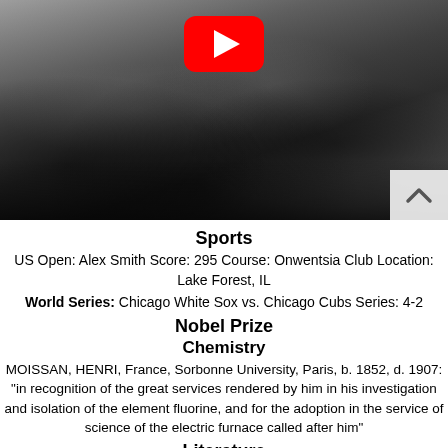[Figure (photo): Black and white historical photograph showing people near railway tracks, with a YouTube play button overlay in the upper center area and a scroll-up arrow button in the lower right corner.]
Sports
US Open: Alex Smith Score: 295 Course: Onwentsia Club Location: Lake Forest, IL
World Series: Chicago White Sox vs. Chicago Cubs Series: 4-2
Nobel Prize
Chemistry
MOISSAN, HENRI, France, Sorbonne University, Paris, b. 1852, d. 1907: "in recognition of the great services rendered by him in his investigation and isolation of the element fluorine, and for the adoption in the service of science of the electric furnace called after him"
Literature
CARDUCCI, GIOSUé, Italy, b. 1835, d. 1907: "not only in consideration of